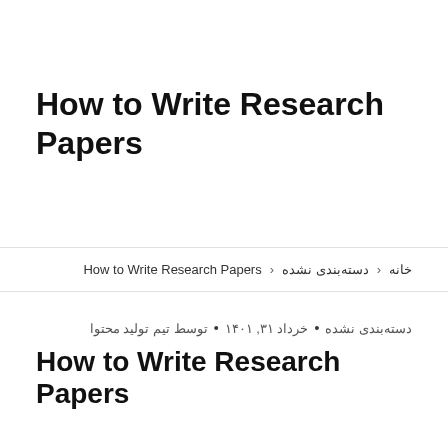How to Write Research Papers
خانه ‹ دسته‌بندی نشده ‹ How to Write Research Papers
دسته‌بندی نشده • خرداد ۳۱, ۱۴۰۱ • توسط تیم تولید محتوا
How to Write Research Papers